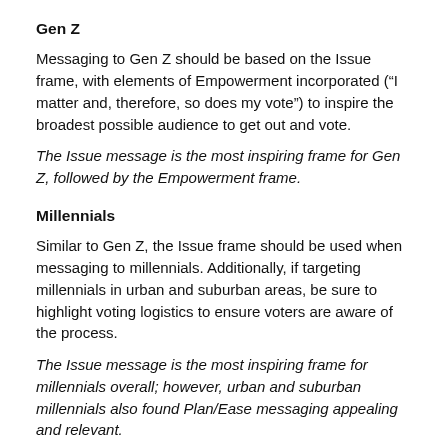Gen Z
Messaging to Gen Z should be based on the Issue frame, with elements of Empowerment incorporated (“I matter and, therefore, so does my vote”) to inspire the broadest possible audience to get out and vote.
The Issue message is the most inspiring frame for Gen Z, followed by the Empowerment frame.
Millennials
Similar to Gen Z, the Issue frame should be used when messaging to millennials. Additionally, if targeting millennials in urban and suburban areas, be sure to highlight voting logistics to ensure voters are aware of the process.
The Issue message is the most inspiring frame for millennials overall; however, urban and suburban millennials also found Plan/Ease messaging appealing and relevant.
Gen X
When messaging to Gen X, the Identity message frame is likely to be most effective.
The Identity message inspires Gen X to get out and vote more